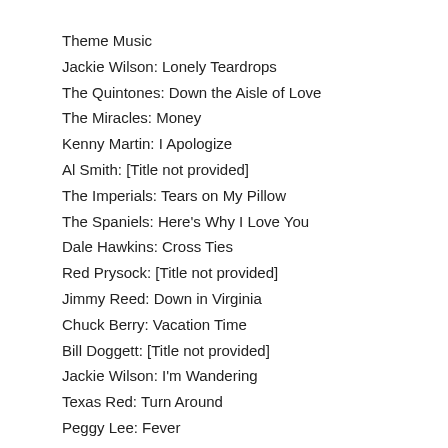Theme Music
Jackie Wilson: Lonely Teardrops
The Quintones: Down the Aisle of Love
The Miracles: Money
Kenny Martin: I Apologize
Al Smith: [Title not provided]
The Imperials: Tears on My Pillow
The Spaniels: Here's Why I Love You
Dale Hawkins: Cross Ties
Red Prysock: [Title not provided]
Jimmy Reed: Down in Virginia
Chuck Berry: Vacation Time
Bill Doggett: [Title not provided]
Jackie Wilson: I'm Wandering
Texas Red: Turn Around
Peggy Lee: Fever
Thurston Harris: Over and Over